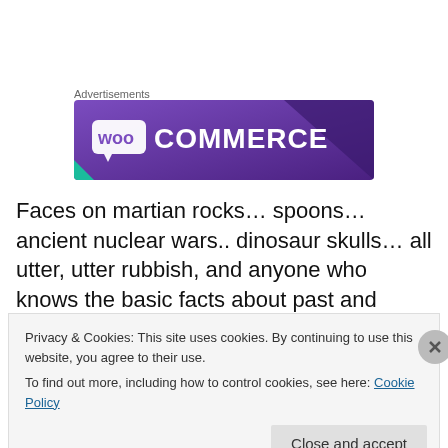Advertisements
[Figure (logo): WooCommerce purple/dark advertisement banner with WooCommerce logo in white text on purple background]
Faces on martian rocks… spoons… ancient nuclear wars.. dinosaur skulls… all utter, utter rubbish, and anyone who knows the basic facts about past and present conditions on Mars knows that. And if you don't know those basic
Privacy & Cookies: This site uses cookies. By continuing to use this website, you agree to their use.
To find out more, including how to control cookies, see here: Cookie Policy
Close and accept